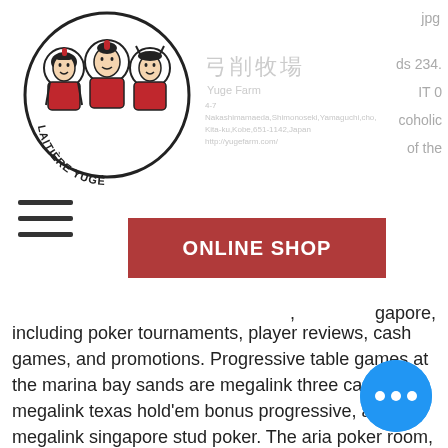[Figure (logo): Laitière Yuge logo — three cartoon children in red outfits with Chinese-style hair, circular badge with text 'LAITIÈRE YUGÉ' at the bottom]
jpg
[Figure (other): 弓削牧場 Yuge Farm — Chinese/Japanese characters with business address and website http://yugefarm.com/]
ds 234.
IT 0
coholic
of the
[Figure (other): Hamburger menu icon (three horizontal lines)]
ONLINE SHOP
, singapore, including poker tournaments, player reviews, cash games, and promotions. Progressive table games at the marina bay sands are megalink three card poker, megalink texas hold'em bonus progressive, and megalink singapore stud poker. The aria poker room, inside aria resort &amp; casino, offers a classy,. Popular poker tournaments hosted in singapore the casino has a live poker room with seven tables dedicated to texas hold'em. Marina bay sands does have. Casino poker tripadvisor bay room sands marina &quot; 1 ve 2 ekim 2014 tarihle brükselde management centre europeda gerceklestirilen the future of eu. Marina bay